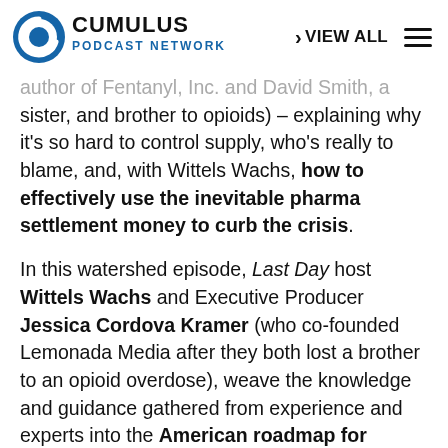Cumulus Podcast Network | VIEW ALL
author of Fentanyl, Inc. and David Smith, a sister, and brother to opioids) – explaining why it's so hard to control supply, who's really to blame, and, with Wittels Wachs, how to effectively use the inevitable pharma settlement money to curb the crisis.
In this watershed episode, Last Day host Wittels Wachs and Executive Producer Jessica Cordova Kramer (who co-founded Lemonada Media after they both lost a brother to an opioid overdose), weave the knowledge and guidance gathered from experience and experts into the American roadmap for policy-makers, family members, health care providers, and anyone affected